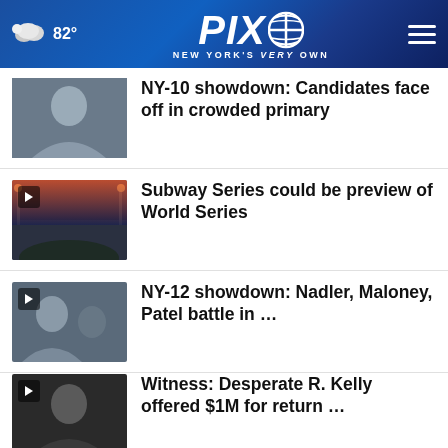PIX 11 NEW YORK'S VERY OWN — 82°
NY-10 showdown: Candidates face off in crowded primary
Subway Series could be preview of World Series
NY-12 showdown: Nadler, Maloney, Patel battle in …
Witness: Desperate R. Kelly offered $1M for return …
More Stories ›
[Figure (screenshot): Ad banner: YOU STOPPED SMOKING. NOW STOP LUNG CANCER. Get SAVEDBYTHECAN.ORG — American Lung Association]
Make the votes